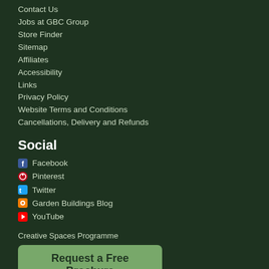Contact Us
Jobs at GBC Group
Store Finder
Sitemap
Affiliates
Accessibility
Links
Privacy Policy
Website Terms and Conditions
Cancellations, Delivery and Refunds
Social
Facebook
Pinterest
Twitter
Garden Buildings Blog
YouTube
Creative Spaces Programme
Request a Free Brochure